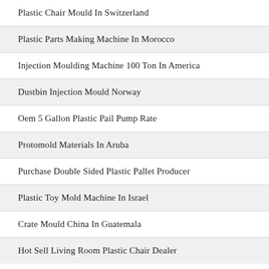Plastic Chair Mould In Switzerland
Plastic Parts Making Machine In Morocco
Injection Moulding Machine 100 Ton In America
Dustbin Injection Mould Norway
Oem 5 Gallon Plastic Pail Pump Rate
Protomold Materials In Aruba
Purchase Double Sided Plastic Pallet Producer
Plastic Toy Mold Machine In Israel
Crate Mould China In Guatemala
Hot Sell Living Room Plastic Chair Dealer